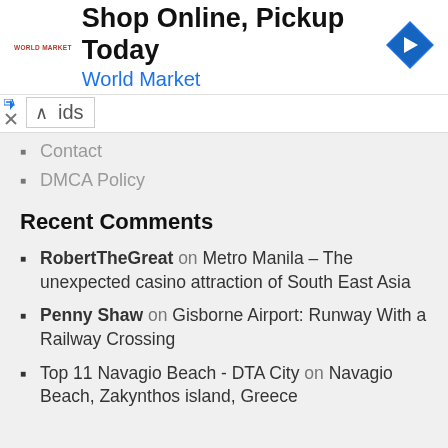[Figure (other): Advertisement banner: Shop Online, Pickup Today - World Market with logo and navigation icon]
ads
Contact
DMCA Policy
Recent Comments
RobertTheGreat on Metro Manila – The unexpected casino attraction of South East Asia
Penny Shaw on Gisborne Airport: Runway With a Railway Crossing
Top 11 Navagio Beach - DTA City on Navagio Beach, Zakynthos island, Greece